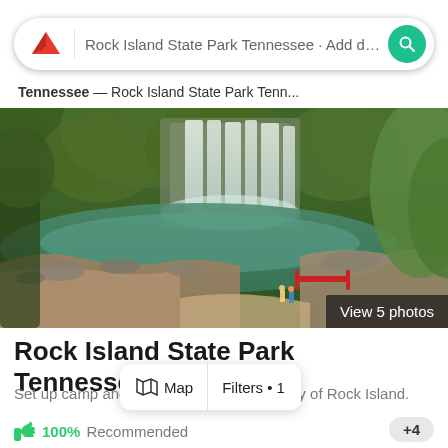[Figure (screenshot): Hipcamp app search bar with tent logo, search text 'Rock Island State Park Tennessee · Add dates', and green search button]
Tennessee — Rock Island State Park Tenn...
[Figure (photo): Aerial photo of Rock Island State Park Tennessee showing a wide waterfall, green forest, rocky river bank, and a red bridge structure]
View 5 photos
Rock Island State Park Tennessee
Set up camp and explore the rugged beauty of Rock Island.
Map    Filters • 1
👍 100% Recommended    +4